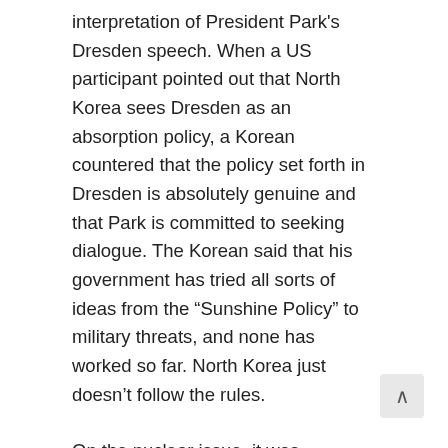interpretation of President Park's Dresden speech. When a US participant pointed out that North Korea sees Dresden as an absorption policy, a Korean countered that the policy set forth in Dresden is absolutely genuine and that Park is committed to seeking dialogue. The Korean said that his government has tried all sorts of ideas from the “Sunshine Policy” to military threats, and none has worked so far. North Korea just doesn’t follow the rules.
On the nuclear issue, it was suggested that much to the chagrin of the speaker and others, perhaps the time will come when Washington’s strategy will be to merely contain North Korea’s nuclear weapons, acknowledging the DPRK as a de facto nuclear sta. As usual, there was disagreement regarding the extent of the DPRK’s weapons capabilities, with